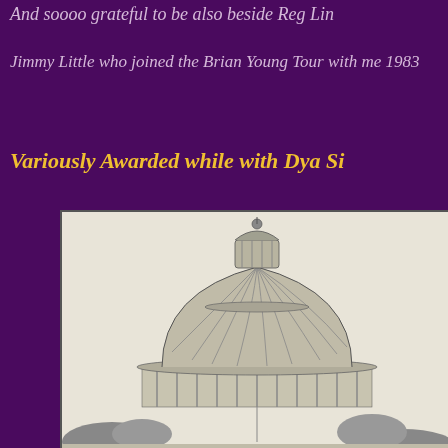And soooo grateful to be also beside Reg Lin
Jimmy Little who joined the Brian Young Tour with me 1983
Variously Awarded while with Dya Si
[Figure (illustration): Black and white illustration/photo of a large domed capitol building with classical architectural style, showing the dome and upper rotunda with columns]